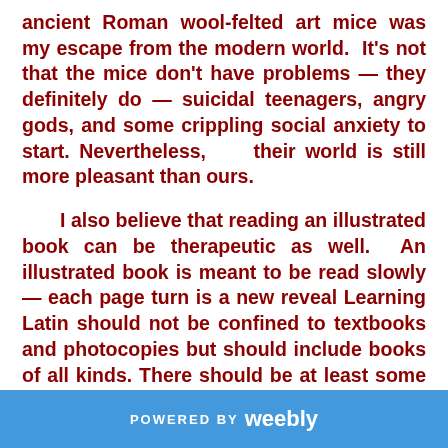ancient Roman wool-felted art mice was my escape from the modern world.  It's not that the mice don't have problems — they definitely do — suicidal teenagers, angry gods, and some crippling social anxiety to start.  Nevertheless,    their  world  is  still  more pleasant than ours.
I also believe that reading an illustrated book can be therapeutic as well.  An illustrated book is meant to be read slowly — each page turn is a new reveal Learning Latin should not be confined to textbooks and photocopies but should include books of all kinds. There should be at least some books that you remember visually with joy and comfort even after your reading ability surpasses the text.  I don't
POWERED BY weebly